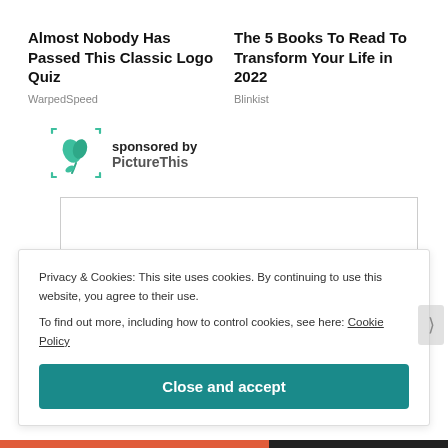Almost Nobody Has Passed This Classic Logo Quiz
WarpedSpeed
The 5 Books To Read To Transform Your Life in 2022
Blinkist
[Figure (logo): PictureThis sponsored logo — green plant icon in a rounded scan-frame]
sponsored by PictureThis
Privacy & Cookies: This site uses cookies. By continuing to use this website, you agree to their use.
To find out more, including how to control cookies, see here: Cookie Policy
Close and accept